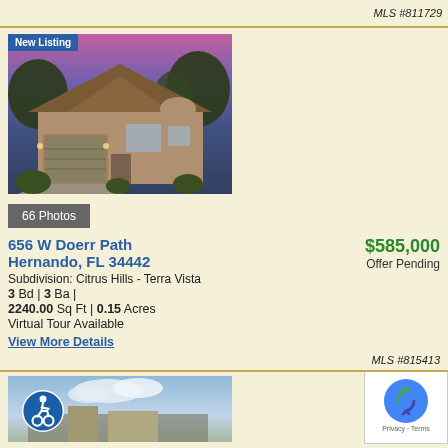MLS #811729
[Figure (photo): House exterior photo at dusk with purple/pink sky, tan stucco home with tile roof and two-car garage, landscaped front yard. Badge: New Listing]
66 Photos
656 W Doerr Path
Hernando, FL 34442
$585,000
Offer Pending
Subdivision: Citrus Hills - Terra Vista
3 Bd | 3 Ba |
2240.00 Sq Ft | 0.15 Acres
Virtual Tour Available
View More Details
MLS #815413
[Figure (photo): Partial view of another house listing with wheelchair accessibility icon badge and blue sky with clouds]